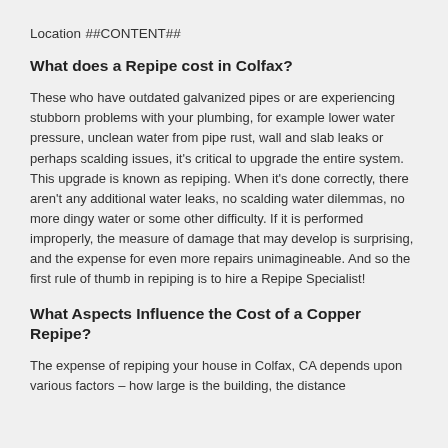Location
##CONTENT##
What does a Repipe cost in Colfax?
These who have outdated galvanized pipes or are experiencing stubborn problems with your plumbing, for example lower water pressure, unclean water from pipe rust, wall and slab leaks or perhaps scalding issues, it's critical to upgrade the entire system. This upgrade is known as repiping. When it's done correctly, there aren't any additional water leaks, no scalding water dilemmas, no more dingy water or some other difficulty. If it is performed improperly, the measure of damage that may develop is surprising, and the expense for even more repairs unimagineable. And so the first rule of thumb in repiping is to hire a Repipe Specialist!
What Aspects Influence the Cost of a Copper Repipe?
The expense of repiping your house in Colfax, CA depends upon various factors – how large is the building, the distance